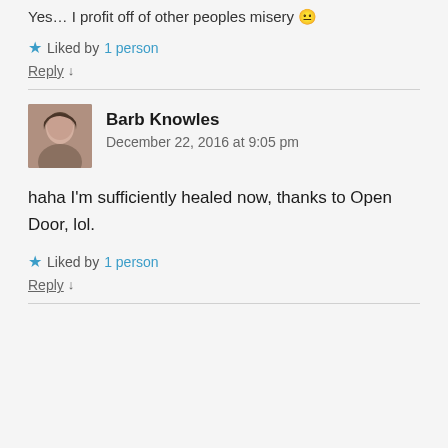Yes… I profit off of other peoples misery 😐
★ Liked by 1 person
Reply ↓
Barb Knowles
December 22, 2016 at 9:05 pm
haha I'm sufficiently healed now, thanks to Open Door, lol.
★ Liked by 1 person
Reply ↓